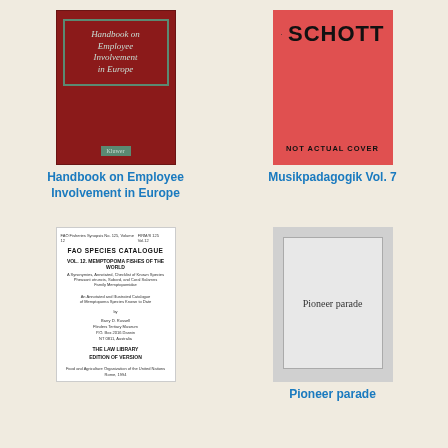[Figure (illustration): Book cover: Handbook on Employee Involvement in Europe, red cover with teal/green border inset, publisher Kluwer]
Handbook on Employee Involvement in Europe
[Figure (illustration): Book cover: Schott publisher logo on red/coral background with musical note, text NOT ACTUAL COVER]
Musikpadagogik Vol. 7
[Figure (illustration): Book cover: FAO Species Catalogue, white cover, text about FAO Fisheries Synopsis No. 125, Volume 12, Memptopoma Fishes of the World]
[Figure (illustration): Book cover: Pioneer parade, gray cover with lighter gray inner rectangle and text Pioneer parade]
Pioneer parade